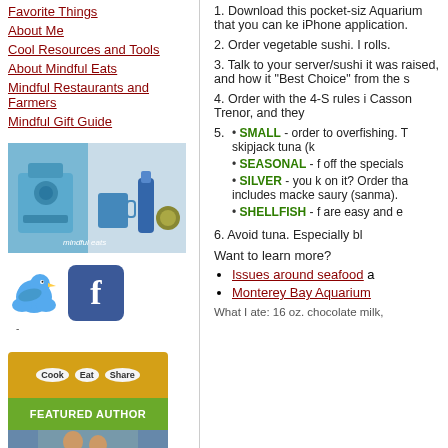Favorite Things
About Me
Cool Resources and Tools
About Mindful Eats
Mindful Restaurants and Farmers
Mindful Gift Guide
[Figure (photo): Kitchen appliances and tools photo with 'mindful eats' watermark]
[Figure (illustration): Twitter bird icon and Facebook icon]
[Figure (infographic): Cook Eat Share Featured Author badge with photo]
1. Download this pocket-siz Aquarium that you can ke iPhone application.
2. Order vegetable sushi. I rolls.
3. Talk to your server/sushi it was raised, and how it "Best Choice" from the s
4. Order with the 4-S rules i Casson Trenor, and they
5. SMALL - order to overfishing. T skipjack tuna (k
SEASONAL - f off the specials
SILVER - you k on it? Order tha includes macke saury (sanma).
SHELLFISH - f are easy and e
6. Avoid tuna. Especially bl
Want to learn more?
Issues around seafood a
Monterey Bay Aquarium
What I ate: 16 oz. chocolate milk,